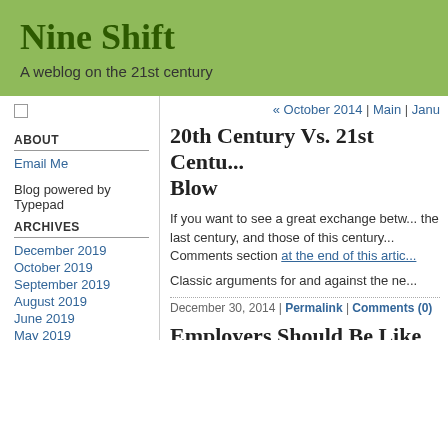Nine Shift
A weblog on the 21st century
ABOUT
Email Me
Blog powered by Typepad
ARCHIVES
December 2019
October 2019
September 2019
August 2019
June 2019
May 2019
March 2019
February 2019
« October 2014 | Main | Janu
20th Century Vs. 21st Centu... Blow
If you want to see a great exchange betw... the last century, and those of this century... Comments section at the end of this artic...
Classic arguments for and against the ne...
December 30, 2014 | Permalink | Comments (0)
Employers Should Be Like ...
At the end of the story, Scrooge doub... salary, funds Tiny Tim's health care, a... his profits to charity.
More employers should be like Scrooge...